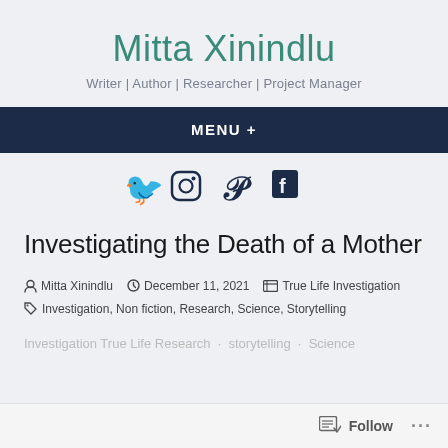Mitta Xinindlu
Writer | Author | Researcher | Project Manager
MENU +
[Figure (infographic): Social media icons: Twitter, Instagram, Pinterest, Facebook]
Investigating the Death of a Mother
Mitta Xinindlu  December 11, 2021  True Life Investigation
Investigation, Non fiction, Research, Science, Storytelling
Follow